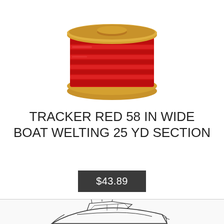[Figure (photo): A spool of red boat welting/rope wound around a golden/tan spool, viewed from the front.]
TRACKER RED 58 IN WIDE BOAT WELTING 25 YD SECTION
$43.89
[Figure (illustration): Black and white line drawing illustration of a motorboat, partially visible at the bottom of the page.]